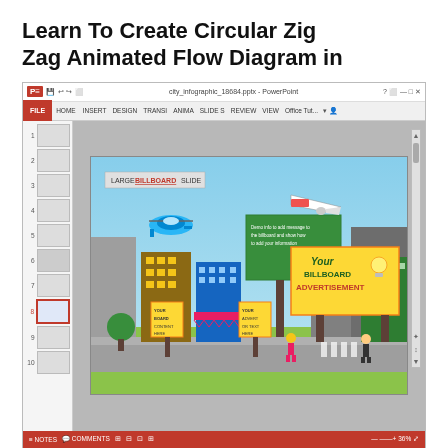Learn To Create Circular Zig Zag Animated Flow Diagram in
[Figure (screenshot): Screenshot of Microsoft PowerPoint application open with a city infographic slide showing a large billboard advertisement with a cartoon city scene including buildings, people, airplane, helicopter, and billboard signs. The slide panel on the left shows 10 slide thumbnails with slide 8 active.]
Animated Timelines Using Morph The PowerPoint Blog. Creative PowerPoint Slide Design & Animation Visual slides